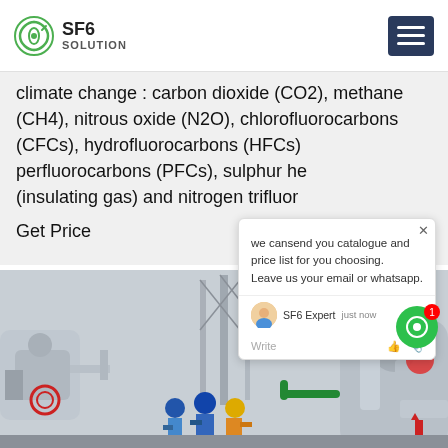SF6 SOLUTION
climate change : carbon dioxide (CO2), methane (CH4), nitrous oxide (N2O), chlorofluorocarbons (CFCs), hydrofluorocarbons (HFCs), perfluorocarbons (PFCs), sulphur hexafluoride (insulating gas) and nitrogen trifluoride
Get Price
[Figure (screenshot): Chat popup widget showing message: 'we can send you catalogue and price list for you choosing. Leave us your email or whatsapp.' with SF6 Expert label and 'just now' timestamp, with a close button and write/send controls.]
[Figure (photo): Industrial gas facility with workers in hard hats and safety gear standing among large cylindrical gas tanks and high-voltage transmission towers in the background.]